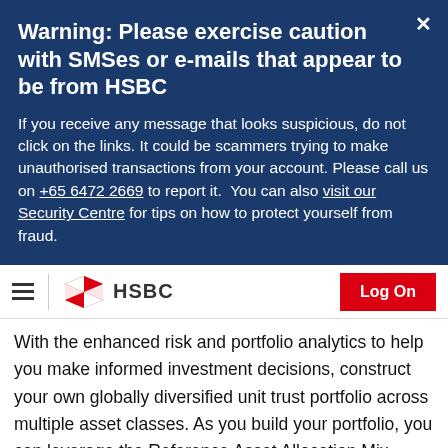Warning: Please exercise caution with SMSes or e-mails that appear to be from HSBC
If you receive any message that looks suspicious, do not click on the links. It could be scammers trying to make unauthorised transactions from your account. Please call us on +65 6472 2669 to report it. You can also visit our Security Centre for tips on how to protect yourself from fraud.
[Figure (logo): HSBC logo with hamburger menu and Log On button navigation bar]
With the enhanced risk and portfolio analytics to help you make informed investment decisions, construct your own globally diversified unit trust portfolio across multiple asset classes. As you build your portfolio, you can leverage the Reference Asset Allocation Mix which aligns with your risk tolerance to ensure that your portfolio is consistent with your investment